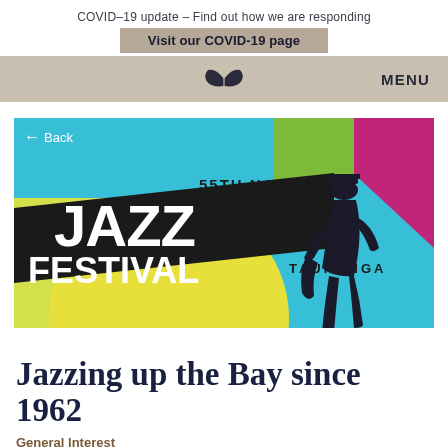COVID-19 update – Find out how we are responding
Visit our COVID-19 page
MENU
[Figure (illustration): 55th National Jazz Festival Tauranga promotional banner with colorful geometric background (blue, yellow, green, magenta), large bold white and black text reading JAZZ Festival, with a silhouette of a saxophonist. A back navigation arrow and 'Back' text overlay top-left corner.]
Jazzing up the Bay since 1962
General Interest